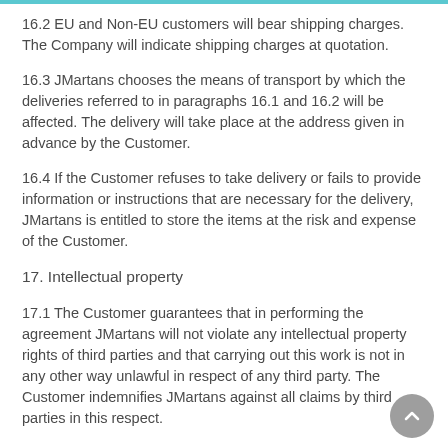16.2 EU and Non-EU customers will bear shipping charges. The Company will indicate shipping charges at quotation.
16.3 JMartans chooses the means of transport by which the deliveries referred to in paragraphs 16.1 and 16.2 will be affected. The delivery will take place at the address given in advance by the Customer.
16.4 If the Customer refuses to take delivery or fails to provide information or instructions that are necessary for the delivery, JMartans is entitled to store the items at the risk and expense of the Customer.
17. Intellectual property
17.1 The Customer guarantees that in performing the agreement JMartans will not violate any intellectual property rights of third parties and that carrying out this work is not in any other way unlawful in respect of any third party. The Customer indemnifies JMartans against all claims by third parties in this respect.